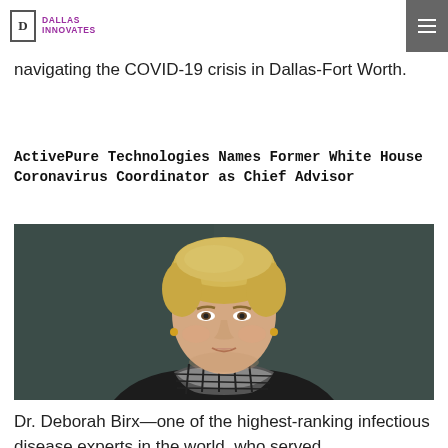DALLAS INNOVATES
navigating the COVID-19 crisis in Dallas-Fort Worth.
ActivePure Technologies Names Former White House Coronavirus Coordinator as Chief Advisor
[Figure (photo): Portrait photo of Dr. Deborah Birx, a woman with short blonde hair, wearing a dark jacket and a black and white plaid scarf, photographed against a dark gray background.]
Dr. Deborah Birx—one of the highest-ranking infectious disease experts in the world, who served